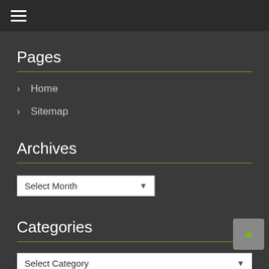☰ (hamburger menu)
Pages
> Home
> Sitemap
Archives
Select Month (dropdown)
Categories
Select Category (dropdown)